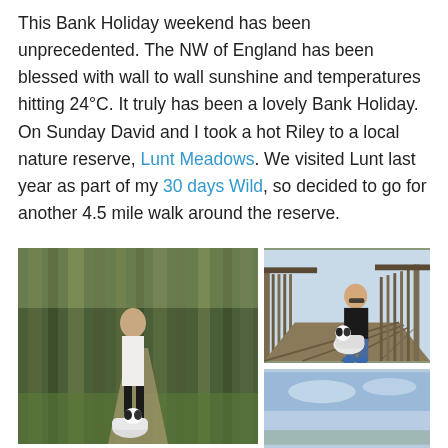This Bank Holiday weekend has been unprecedented. The NW of England has been blessed with wall to wall sunshine and temperatures hitting 24°C. It truly has been a lovely Bank Holiday. On Sunday David and I took a hot Riley to a local nature reserve, Lunt Meadows. We visited Lunt last year as part of my 30 days Wild, so decided to go for another 4.5 mile walk around the reserve.
[Figure (photo): Woman with sunglasses walking a black and white dog on a lead through a woodland path with tall trees]
[Figure (photo): Man in sunglasses and dark top crouching beside a black and white dog on a wooden boardwalk/bridge with fence railings]
[Figure (photo): Partial view of a blue sky scene, bottom right of page, partially cut off]